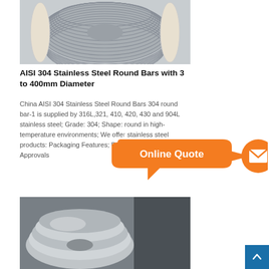[Figure (photo): Spool of stainless steel wire/rod wound on a wooden reel, photographed from above at an angle.]
AISI 304 Stainless Steel Round Bars with 3 to 400mm Diameter
China AISI 304 Stainless Steel Round Bars 304 round bar-1 is supplied by 316L,321, 410, 420, 430 and 904L stainless steel; Grade: 304; Shape: round in high-temperature environments; We offer stainless steel products: Packaging Features; Prompt Delivery; Quality Approvals
[Figure (illustration): Orange speech bubble with text 'Online Quote' pointing right, with an orange circle containing a white envelope icon to the right.]
[Figure (photo): Large roll of stainless steel strip/coil, silver metallic, photographed close-up.]